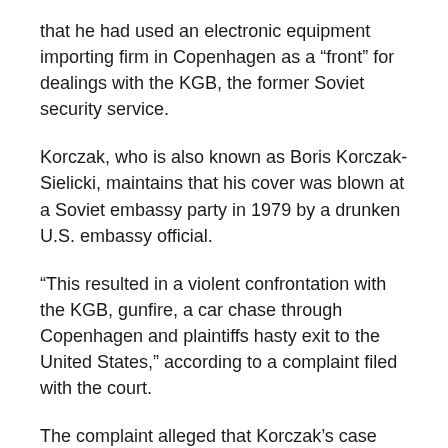that he had used an electronic equipment importing firm in Copenhagen as a “front” for dealings with the KGB, the former Soviet security service.
Korczak, who is also known as Boris Korczak-Sielicki, maintains that his cover was blown at a Soviet embassy party in 1979 by a drunken U.S. embassy official.
“This resulted in a violent confrontation with the KGB, gunfire, a car chase through Copenhagen and plaintiffs hasty exit to the United States,” according to a complaint filed with the court.
The complaint alleged that Korczak’s case officer, his link to the CIA, had demanded a bribe to “see what he could do” for Korczak after he took up residence on a three-month tourist visa in Fairfax, Va., not far from CIA headquarters.